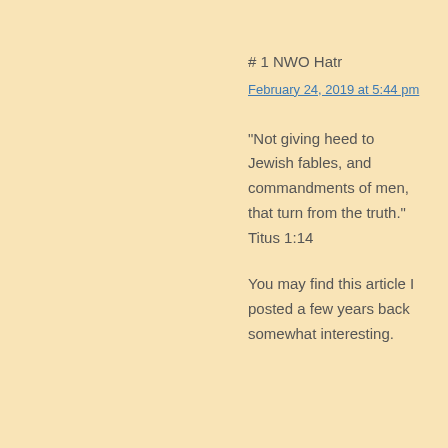# 1 NWO Hatr
February 24, 2019 at 5:44 pm
“Not giving heed to Jewish fables, and commandments of men, that turn from the truth.” Titus 1:14
You may find this article I posted a few years back somewhat interesting.